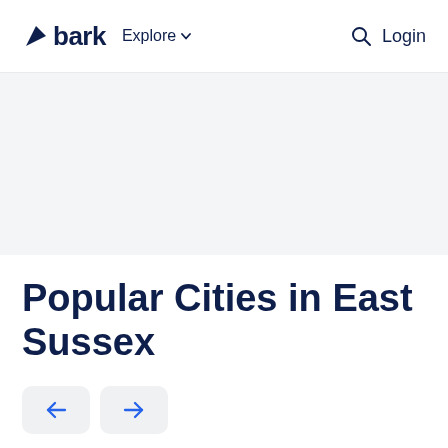bark   Explore ▾   🔍 Login
[Figure (other): Light grey hero/banner area placeholder]
Popular Cities in East Sussex
[Figure (other): Two navigation arrow buttons: left arrow and right arrow]